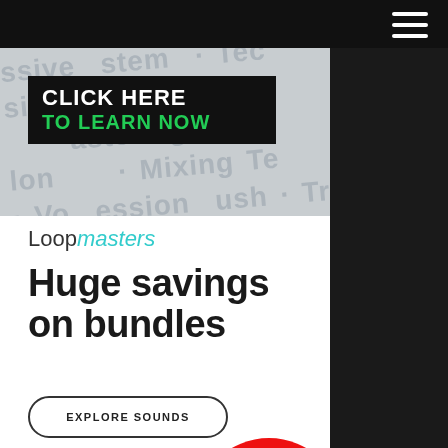Navigation bar with hamburger menu
[Figure (screenshot): Advertisement banner with watermark text background showing music-related words: DJ, Mastering, Mixing, Trakto, Vocals, Progression, Push, Stems, Lo-fi, Technique]
[Figure (infographic): Click Here To Learn Now button/banner with black background, white bold text 'CLICK HERE' and green bold text 'TO LEARN NOW']
[Figure (logo): Loopmasters logo: 'loop' in dark grey and 'masters' in teal/cyan italic]
Huge savings on bundles
EXPLORE SOUNDS
UP TO 80%